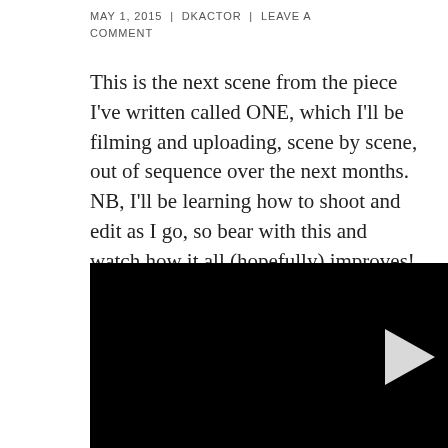MAY 1, 2015 | DKACTOR | LEAVE A COMMENT
This is the next scene from the piece I've written called ONE, which I'll be filming and uploading, scene by scene, out of sequence over the next months. NB, I'll be learning how to shoot and edit as I go, so bear with this and watch how it all (hopefully) improves!
[Figure (screenshot): Black video player with a white play button triangle in the center]